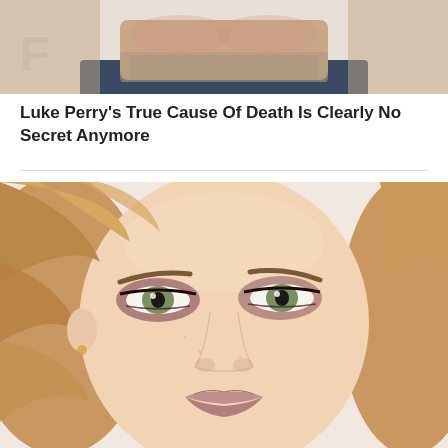[Figure (photo): Close-up photo of a man's face, partially cropped, showing beard and dark clothing, cropped at top]
Luke Perry's True Cause Of Death Is Clearly No Secret Anymore
[Figure (photo): Close-up portrait photo of a woman with green eyes, auburn/blonde wavy hair, and smoky eye makeup, looking directly at camera]